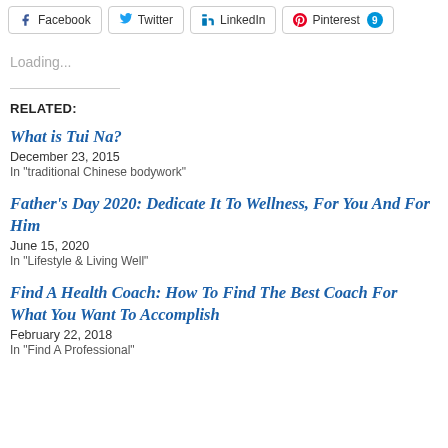[Figure (other): Social sharing buttons: Facebook, Twitter, LinkedIn, Pinterest (with badge showing 9)]
Loading...
RELATED:
What is Tui Na?
December 23, 2015
In "traditional Chinese bodywork"
Father's Day 2020: Dedicate It To Wellness, For You And For Him
June 15, 2020
In "Lifestyle & Living Well"
Find A Health Coach: How To Find The Best Coach For What You Want To Accomplish
February 22, 2018
In "Find A Professional"